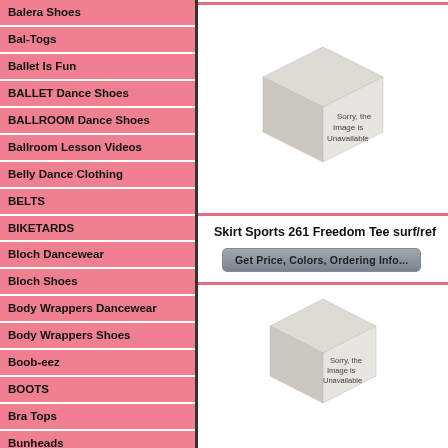Balera Shoes
Bal-Togs
Ballet Is Fun
BALLET Dance Shoes
BALLROOM Dance Shoes
Ballroom Lesson Videos
Belly Dance Clothing
BELTS
BIKETARDS
Bloch Dancewear
Bloch Shoes
Body Wrappers Dancewear
Body Wrappers Shoes
Boob-eez
BOOTS
Bra Tops
Bunheads
Butterfly Wings
Capezio Dancewear
Capezio Shoes
CC Spirituwear
[Figure (photo): Product image unavailable placeholder (3D cube graphic with text 'Sorry, the Image is Unavailable')]
Skirt Sports 261 Freedom Tee surf/ref
Get Price, Colors, Ordering Info...
[Figure (photo): Second product image unavailable placeholder (3D cube graphic with text 'Sorry, the Image is Unavailable')]